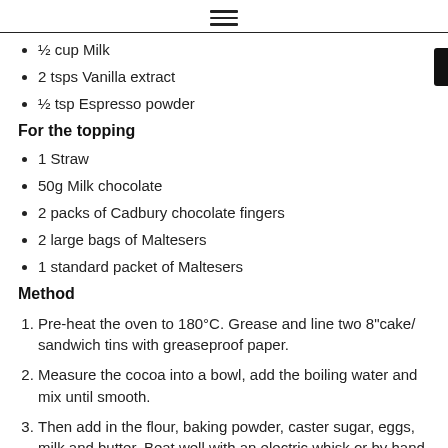≡ (hamburger menu icon)
½ cup Milk
2 tsps Vanilla extract
½ tsp Espresso powder
For the topping
1 Straw
50g Milk chocolate
2 packs of Cadbury chocolate fingers
2 large bags of Maltesers
1 standard packet of Maltesers
Method
Pre-heat the oven to 180°C. Grease and line two 8"cake/sandwich tins with greaseproof paper.
Measure the cocoa into a bowl, add the boiling water and mix until smooth.
Then add in the flour, baking powder, caster sugar, eggs, milk and butter. Beat well with an electric whisk or by hand for 2 minutes until the mixture is smooth.